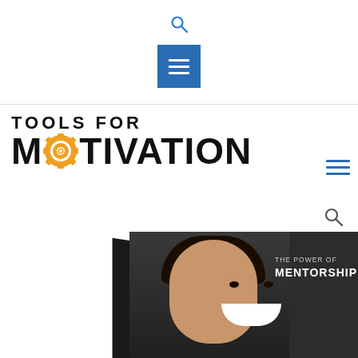[Figure (screenshot): Search icon at top center of page header]
[Figure (screenshot): Blue hamburger menu button in header]
[Figure (logo): Tools for Motivation logo with gear icon replacing the O in Motivation]
[Figure (screenshot): Blue hamburger menu icon on right side]
[Figure (screenshot): Search icon on right side]
[Figure (photo): Book cover titled The Power of Mentorship showing a smiling woman on a dark background]